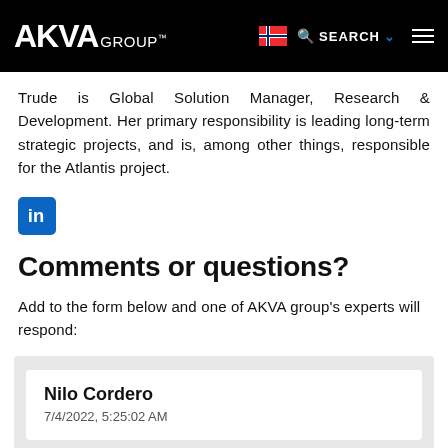AKVA GROUP
Trude is Global Solution Manager, Research & Development. Her primary responsibility is leading long-term strategic projects, and is, among other things, responsible for the Atlantis project.
[Figure (logo): LinkedIn icon — blue rounded square with white 'in' text]
Comments or questions?
Add to the form below and one of AKVA group's experts will respond:
Nilo Cordero
7/4/2022, 5:25:02 AM